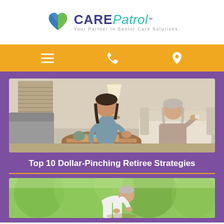CarePatrol — Your Partner In Senior Care Solutions
[Figure (screenshot): Navigation bar with hamburger menu, phone icon, and location pin icon on gold/amber background]
[Figure (photo): A young female caregiver sitting cross-legged on the floor in a living room, smiling and handing something to an elderly woman seated on a white sofa. A round wooden coffee table with tea items is in the foreground.]
Top 10 Dollar-Pinching Retiree Strategies
[Figure (photo): An elderly man with gray hair bending over, appearing to do gardening or light outdoor work, with green trees in the background.]